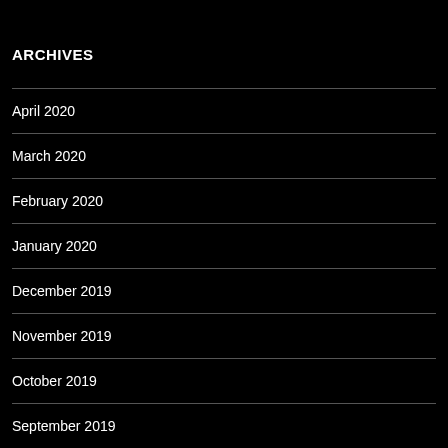ARCHIVES
April 2020
March 2020
February 2020
January 2020
December 2019
November 2019
October 2019
September 2019
August 2019
July 2019